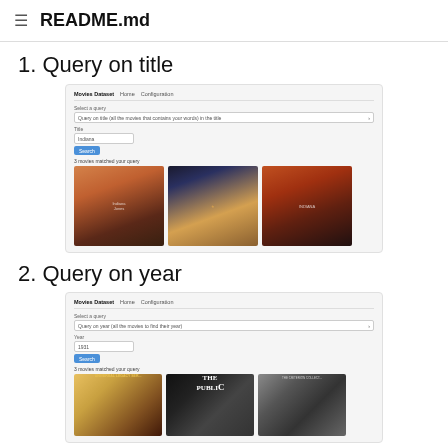README.md
1. Query on title
[Figure (screenshot): Screenshot of Movies Dataset UI showing 'Select a query' dropdown with title query option, a Title input field with value 'Indiana', a Search button, and results showing 3 Indiana Jones movie posters]
2. Query on year
[Figure (screenshot): Screenshot of Movies Dataset UI showing 'Select a query' dropdown with year query option, a Year input field with value '1931', a Search button, and results showing 3 movie posters including Universal Legacy and The Public]